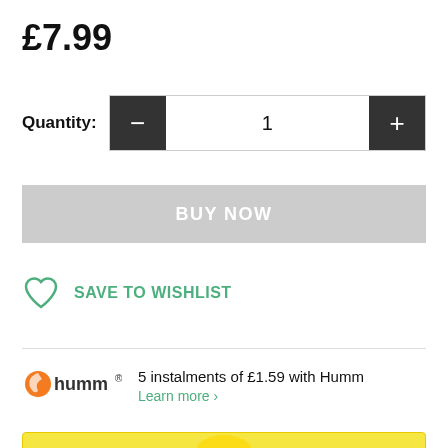£7.99
Quantity: 1
BUY NOW
SAVE TO WISHLIST
5 instalments of £1.59 with Humm
Learn more >